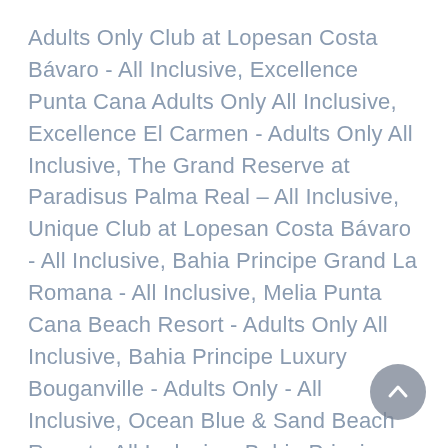Adults Only Club at Lopesan Costa Bávaro - All Inclusive, Excellence Punta Cana Adults Only All Inclusive, Excellence El Carmen - Adults Only All Inclusive, The Grand Reserve at Paradisus Palma Real – All Inclusive, Unique Club at Lopesan Costa Bávaro - All Inclusive, Bahia Principe Grand La Romana - All Inclusive, Melia Punta Cana Beach Resort - Adults Only All Inclusive, Bahia Principe Luxury Bouganville - Adults Only - All Inclusive, Ocean Blue & Sand Beach Resort - All Inclusive, Bahia Principe Luxury Ambar - Adults Only - All Inclusive, TRS Cap Cana Hotel - Adults Only - All Inclusive, Paradisus Palma Real Golf & Spa Resort All Inclusive, Ocean El Faro El Beso - Adults Only - All Inclusive, Privilege Club at Ocean Blue & Sand - All Inclusive, Hard Rock Hotel & Casino Punta Cana All Inclusive, Bahia Principe Grand Aquamarine - Adults Only - All Inclusive, Riu Republica - Adults only - All Inclusive, Grand Sirenis Punta Cana Resort & Aquagames - All Inclusive, Bahia Principe Fantasia Punta Cana - All Inclusive, Grand Palladium